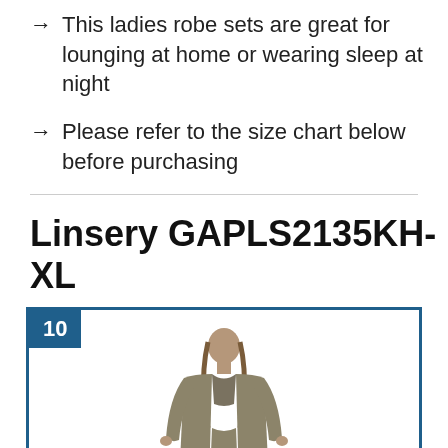This ladies robe sets are great for lounging at home or wearing sleep at night
Please refer to the size chart below before purchasing
Linsery GAPLS2135KH-XL
[Figure (photo): Product photo of a woman wearing a taupe/khaki 3-piece loungewear set consisting of a long cardigan robe, crop bralette top, and shorts, inside a numbered product card with badge number 10]